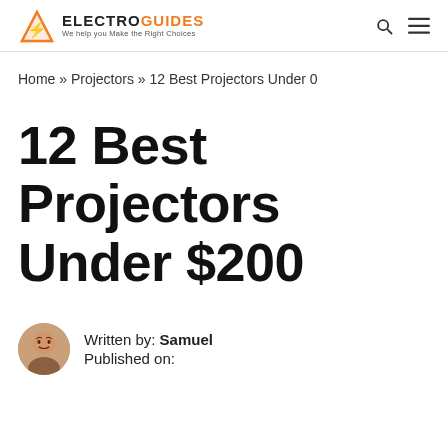ELECTROGUIDES - We help you Make the Right Choices
Home » Projectors » 12 Best Projectors Under 0
12 Best Projectors Under $200
Written by: Samuel
Published on: